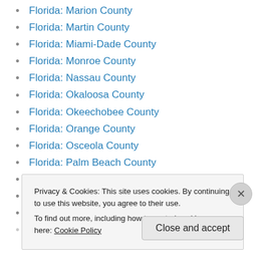Florida: Marion County
Florida: Martin County
Florida: Miami-Dade County
Florida: Monroe County
Florida: Nassau County
Florida: Okaloosa County
Florida: Okeechobee County
Florida: Orange County
Florida: Osceola County
Florida: Palm Beach County
Florida: Pasco County
Florida: Pinellas County
Florida: Polk County
Privacy & Cookies: This site uses cookies. By continuing to use this website, you agree to their use. To find out more, including how to control cookies, see here: Cookie Policy
Close and accept